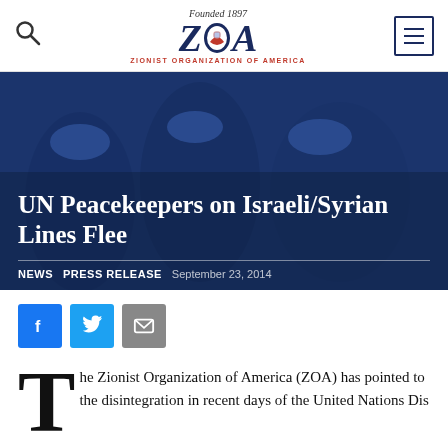[Figure (logo): Zionist Organization of America logo with 'Founded 1897' above and 'ZIONIST ORGANIZATION OF AMERICA' below in red letters]
[Figure (photo): UN peacekeepers in blue helmets with military gear, shown in a dark blue-tinted photo overlay]
UN Peacekeepers on Israeli/Syrian Lines Flee
NEWS  PRESS RELEASE  September 23, 2014
[Figure (infographic): Social share buttons: Facebook (blue), Twitter (light blue), Email (grey)]
The Zionist Organization of America (ZOA) has pointed to the disintegration in recent days of the United Nations Dis...